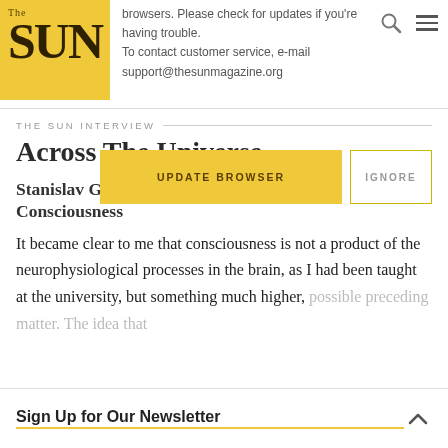The SUN — browsers. Please check for updates if you're having trouble. To contact customer service, e-mail support@thesunmagazine.org
THE SUN INTERVIEW
Across The Universe
Stanislav Grof On Nonordinary States Of Consciousness
It became clear to me that consciousness is not a product of the neurophysiological processes in the brain, as I had been taught at the university, but something much higher,
Sign Up for Our Newsletter